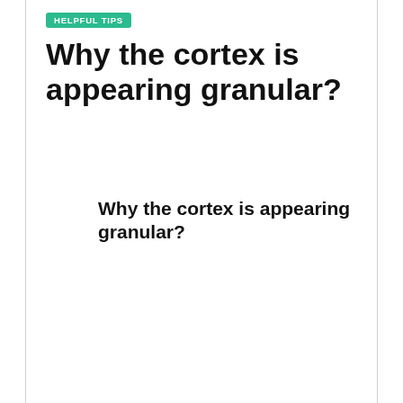HELPFUL TIPS
Why the cortex is appearing granular?
Why the cortex is appearing granular?
We use cookies on our website to give you the most relevant experience by remembering your preferences and repeat visits. By clicking “Accept”, you consent to the use of ALL the cookies.
Do not sell my personal information.